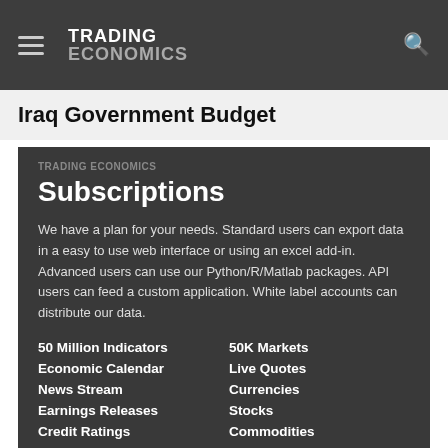TRADING ECONOMICS
Iraq Government Budget
TRADING ECONOMICS
Subscriptions
We have a plan for your needs. Standard users can export data in a easy to use web interface or using an excel add-in. Advanced users can use our Python/R/Matlab packages. API users can feed a custom application. White label accounts can distribute our data.
50 Million Indicators
50K Markets
Economic Calendar
Live Quotes
News Stream
Currencies
Earnings Releases
Stocks
Credit Ratings
Commodities
Forecasts
Bonds
Get Started